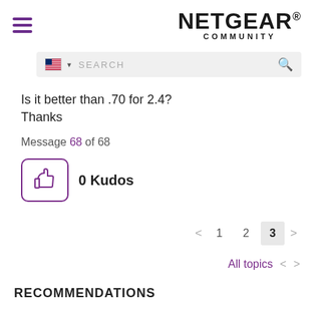[Figure (logo): Netgear Community logo with hamburger menu icon]
[Figure (screenshot): Search bar with US flag, SEARCH placeholder and magnifier icon]
Is it better than .70 for 2.4?
Thanks
Message 68 of 68
[Figure (other): Thumbs up kudos button with 0 Kudos label]
< 1 2 3 >
All topics < >
RECOMMENDATIONS